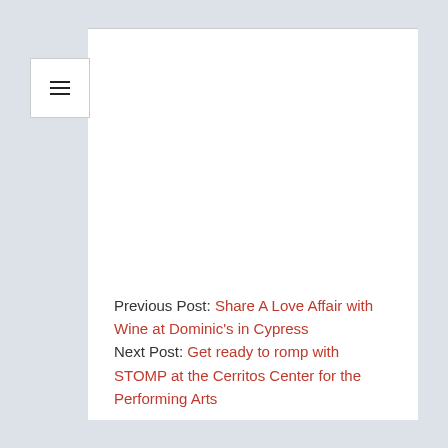[Figure (screenshot): Menu hamburger icon button in white box, top left area of page]
Previous Post: Share A Love Affair with Wine at Dominic's in Cypress
Next Post: Get ready to romp with STOMP at the Cerritos Center for the Performing Arts